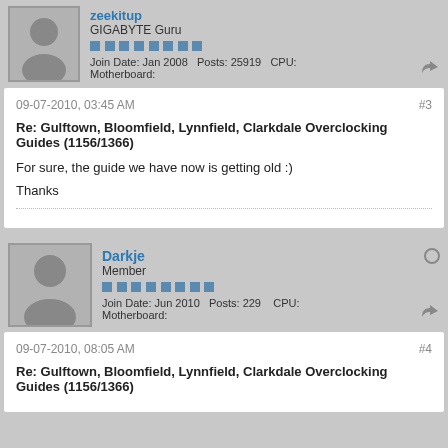GIGABYTE Guru
Join Date: Jan 2008  Posts: 25919  CPU:
Motherboard:
09-07-2010, 03:45 AM  #3
Re: Gulftown, Bloomfield, Lynnfield, Clarkdale Overclocking Guides (1156/1366)
For sure, the guide we have now is getting old :)
Thanks
Darkje
Member
Join Date: Jun 2010  Posts: 229  CPU:
Motherboard:
09-07-2010, 08:05 AM  #4
Re: Gulftown, Bloomfield, Lynnfield, Clarkdale Overclocking Guides (1156/1366)